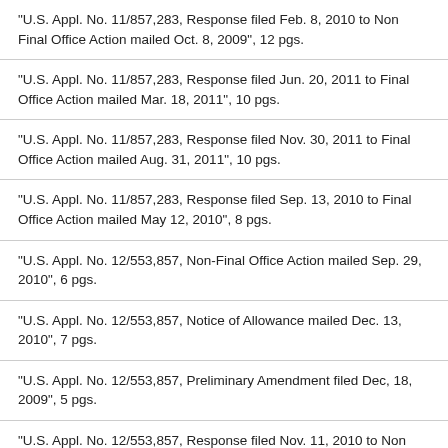"U.S. Appl. No. 11/857,283, Response filed Feb. 8, 2010 to Non Final Office Action mailed Oct. 8, 2009", 12 pgs.
"U.S. Appl. No. 11/857,283, Response filed Jun. 20, 2011 to Final Office Action mailed Mar. 18, 2011", 10 pgs.
"U.S. Appl. No. 11/857,283, Response filed Nov. 30, 2011 to Final Office Action mailed Aug. 31, 2011", 10 pgs.
"U.S. Appl. No. 11/857,283, Response filed Sep. 13, 2010 to Final Office Action mailed May 12, 2010", 8 pgs.
"U.S. Appl. No. 12/553,857, Non-Final Office Action mailed Sep. 29, 2010", 6 pgs.
"U.S. Appl. No. 12/553,857, Notice of Allowance mailed Dec. 13, 2010", 7 pgs.
"U.S. Appl. No. 12/553,857, Preliminary Amendment filed Dec, 18, 2009", 5 pgs.
"U.S. Appl. No. 12/553,857, Response filed Nov. 11, 2010 to Non Final Office Action mailed Sep. 29, 2010", 6 pgs.
"U.S. Appl. No. 12/553,857, Supplemental Notice of Allowability mailed Feb. 7, 2011", 4 pgs.